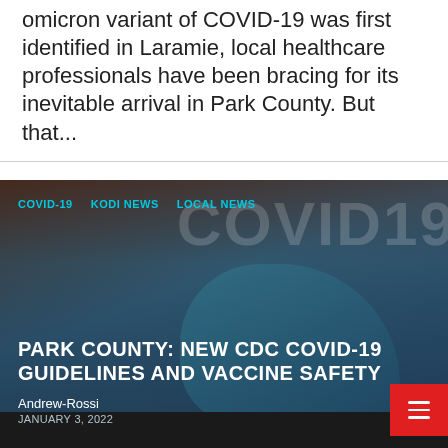omicron variant of COVID-19 was first identified in Laramie, local healthcare professionals have been bracing for its inevitable arrival in Park County. But that...
[Figure (photo): Photo of gloved hands holding a syringe/vaccine with COVID19 text in background. Overlay shows category tags COVID-19, KODI NEWS, LOCAL NEWS, article title PARK COUNTY: NEW CDC COVID-19 GUIDELINES AND VACCINE SAFETY, author Andrew-Rossi, date JANUARY 3, 2022, and a red hamburger menu button.]